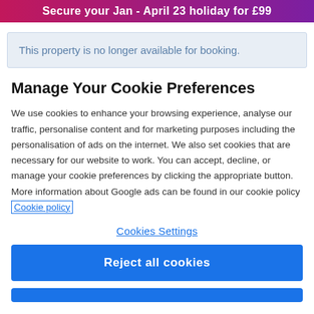Secure your Jan - April 23 holiday for £99
This property is no longer available for booking.
Manage Your Cookie Preferences
We use cookies to enhance your browsing experience, analyse our traffic, personalise content and for marketing purposes including the personalisation of ads on the internet. We also set cookies that are necessary for our website to work. You can accept, decline, or manage your cookie preferences by clicking the appropriate button. More information about Google ads can be found in our cookie policy Cookie policy
Cookies Settings
Reject all cookies
Accept all cookies